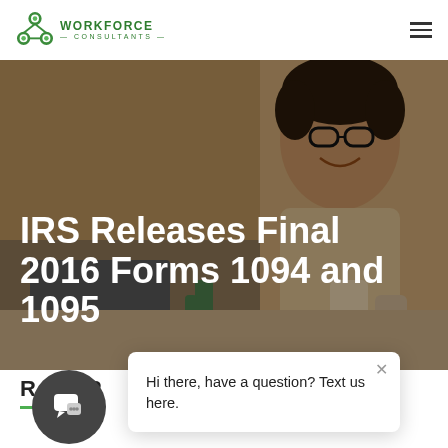Workforce Consultants
IRS Releases Final 2016 Forms 1094 and 1095
[Figure (photo): Hero background photo of a smiling person with curly hair and glasses at an office table, with a dark overlay]
Hi there, have a question? Text us here.
R P